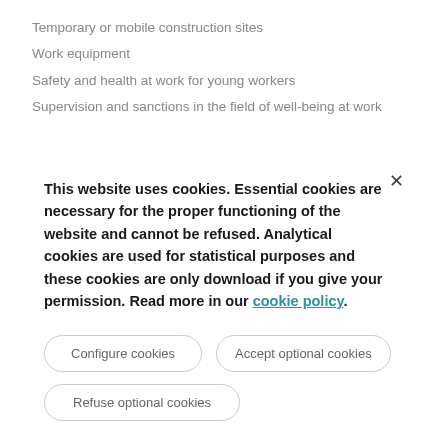Temporary or mobile construction sites
Work equipment
Safety and health at work for young workers
Supervision and sanctions in the field of well-being at work
This website uses cookies. Essential cookies are necessary for the proper functioning of the website and cannot be refused. Analytical cookies are used for statistical purposes and these cookies are only download if you give your permission. Read more in our cookie policy.